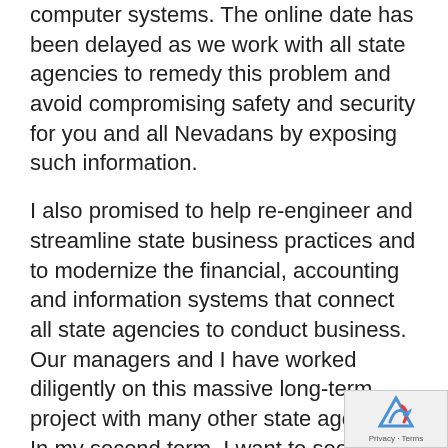computer systems. The online date has been delayed as we work with all state agencies to remedy this problem and avoid compromising safety and security for you and all Nevadans by exposing such information.
I also promised to help re-engineer and streamline state business practices and to modernize the financial, accounting and information systems that connect all state agencies to conduct business. Our managers and I have worked diligently on this massive long-term project with many other state agencies. In my second term, I want to see it through to completion.
Recently, I made major recommendations to the public employee retirement system to improve